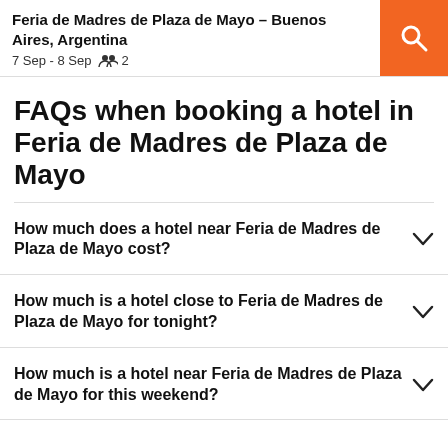Feria de Madres de Plaza de Mayo – Buenos Aires, Argentina
7 Sep - 8 Sep  2
FAQs when booking a hotel in Feria de Madres de Plaza de Mayo
How much does a hotel near Feria de Madres de Plaza de Mayo cost?
How much is a hotel close to Feria de Madres de Plaza de Mayo for tonight?
How much is a hotel near Feria de Madres de Plaza de Mayo for this weekend?
Popular in Buenos Aires
Buenos Aires boutique hotels